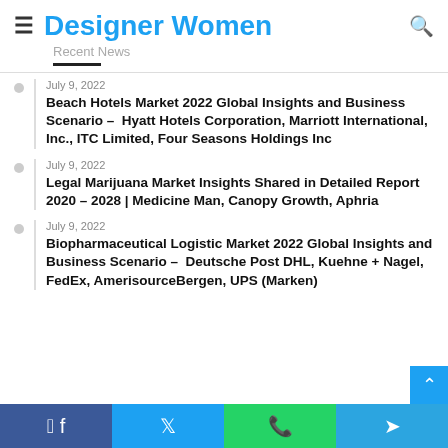Designer Women
Recent News
July 9, 2022 — Beach Hotels Market 2022 Global Insights and Business Scenario – Hyatt Hotels Corporation, Marriott International, Inc., ITC Limited, Four Seasons Holdings Inc
July 9, 2022 — Legal Marijuana Market Insights Shared in Detailed Report 2020 – 2028 | Medicine Man, Canopy Growth, Aphria
July 9, 2022 — Biopharmaceutical Logistic Market 2022 Global Insights and Business Scenario – Deutsche Post DHL, Kuehne + Nagel, FedEx, AmerisourceBergen, UPS (Marken)